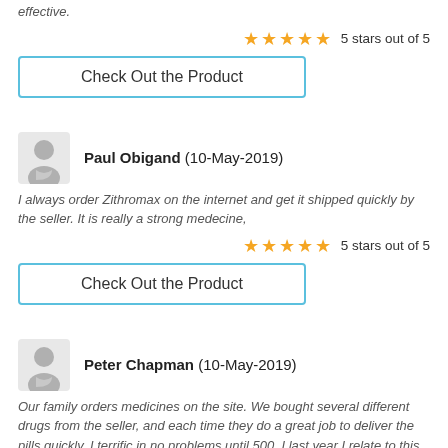effective.
5 stars out of 5
Check Out the Product
Paul Obigand (10-May-2019)
I always order Zithromax on the internet and get it shipped quickly by the seller. It is really a strong medecine,
5 stars out of 5
Check Out the Product
Peter Chapman (10-May-2019)
Our family orders medicines on the site. We bought several different drugs from the seller, and each time they do a great job to deliver the pills quickly. I terrific in no problems until 500. I last year I relate to this